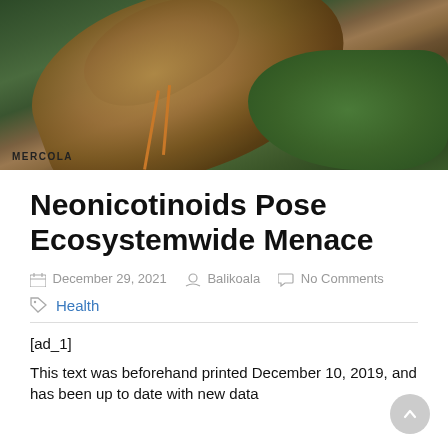[Figure (photo): Close-up macro photograph of a bee on a green leaf, with MERCOLA watermark in bottom left corner]
Neonicotinoids Pose Ecosystemwide Menace
December 29, 2021   Balikoala   No Comments
Health
[ad_1]
This text was beforehand printed December 10, 2019, and has been up to date with new data